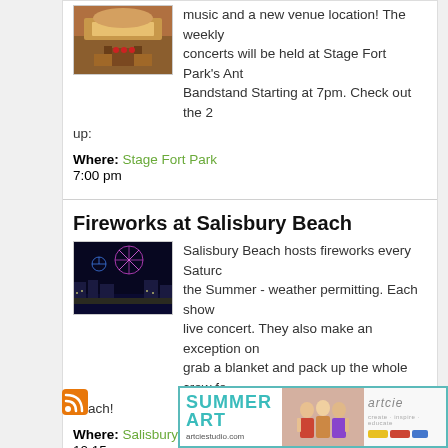music and a new venue location! The weekly concerts will be held at Stage Fort Park's Ant Bandstand Starting at 7pm. Check out the 2... up:
Where: Stage Fort Park
7:00 pm
Fireworks at Salisbury Beach
[Figure (photo): Fireworks over Salisbury Beach at night with lights reflected on water]
Salisbury Beach hosts fireworks every Saturda... the Summer - weather permitting. Each show... live concert. They also make an exception on... grab a blanket and pack up the whole crew fo... beach!
Where: Salisbury Beach Stage
10:15 pm
[Figure (logo): RSS feed icon (orange square with white wifi signal)]
[Figure (infographic): Advertisement for Artcie Studio Summer Art program at artciestudio.com]